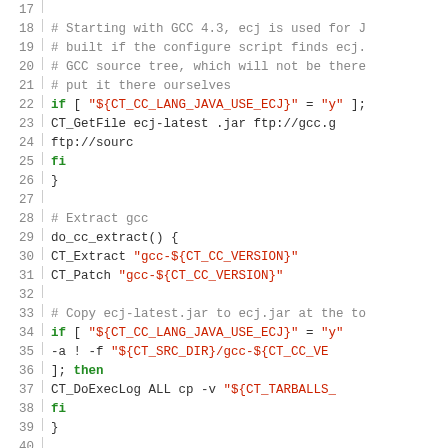[Figure (screenshot): Source code listing showing shell script lines 17-47 with line numbers, syntax highlighting: green keywords (if, fi, then, return), red strings/variables in quotes, grey comments]